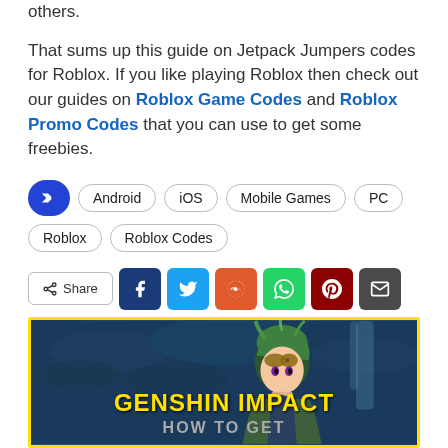others.
That sums up this guide on Jetpack Jumpers codes for Roblox. If you like playing Roblox then check out our guides on Roblox Game Codes and Roblox Promo Codes that you can use to get some freebies.
Android
iOS
Mobile Games
PC
Roblox
Roblox Codes
[Figure (infographic): Share buttons row: Share button, Facebook, Twitter, Reddit, WhatsApp, Pinterest, Email]
[Figure (photo): Genshin Impact promotional banner with anime character (green-haired), dark blue background, yellow border, text GENSHIN IMPACT HOW TO GET at bottom]